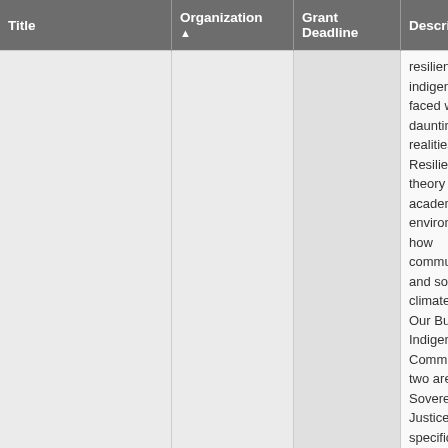| Title | Organization ▲ | Grant Deadline | Description |
| --- | --- | --- | --- |
| Honor the Earth Grant Programs | NGO |  | resilience in indigenous com... faced with daunting environ... realities. Resilience theory i... academic and environmenal... how communities and socie... climate change. Our Buildin... Indigenous Communities Ini... two areas: Food Sovereignty... Justice. In specific, Honor t... restoration of indigenous fo... Native communities, and En... and renewable energy proje... communities. We work to su... the development of culturall... indigenous solutions to clim... peak oil based on re-localizi... energy economies. We also ... restoration of traditional kno... adaptation and mitigation st... safe and healthy future for o... the next seven generations. ... is currently accepting app... |